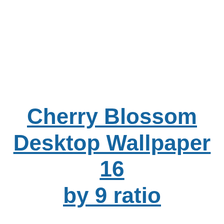Cherry Blossom Desktop Wallpaper 16 by 9 ratio